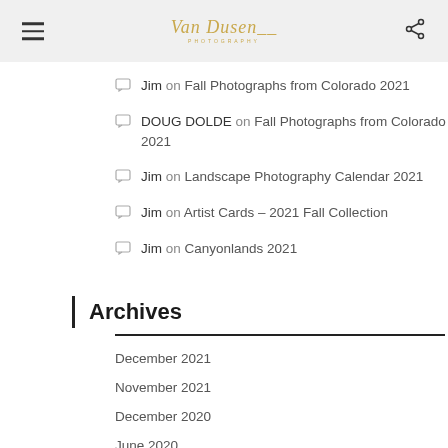Van Dusen Photography
Jim on Fall Photographs from Colorado 2021
DOUG DOLDE on Fall Photographs from Colorado 2021
Jim on Landscape Photography Calendar 2021
Jim on Artist Cards – 2021 Fall Collection
Jim on Canyonlands 2021
Archives
December 2021
November 2021
December 2020
June 2020